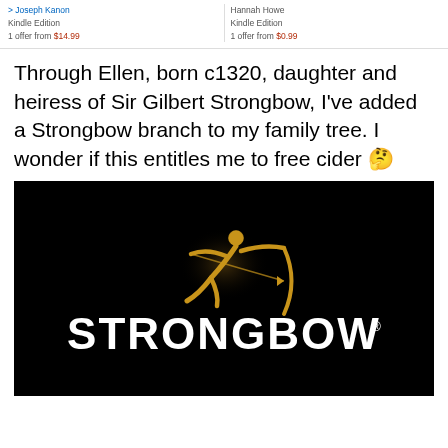> Joseph Kanon
Kindle Edition
1 offer from $14.99
Hannah Howe
Kindle Edition
1 offer from $0.99
Through Ellen, born c1320, daughter and heiress of Sir Gilbert Strongbow, I've added a Strongbow branch to my family tree. I wonder if this entitles me to free cider 🤔
[Figure (logo): Strongbow cider logo on black background: golden archer figure and STRONGBOW text in white]